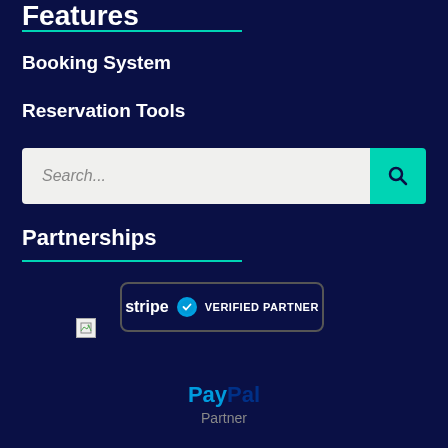Features
Booking System
Reservation Tools
[Figure (screenshot): Search input box with teal search button containing magnifying glass icon]
Partnerships
[Figure (logo): Stripe Verified Partner badge - rounded rectangle border with Stripe text, blue checkmark, and VERIFIED PARTNER text]
[Figure (photo): Broken image placeholder]
[Figure (logo): PayPal Partner logo with blue Pay text, dark blue Pal text, and Partner subtitle]